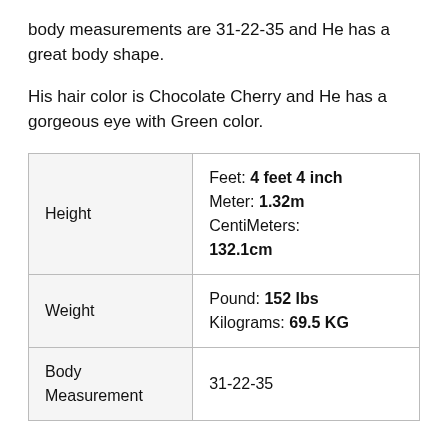body measurements are 31-22-35 and He has a great body shape.
His hair color is Chocolate Cherry and He has a gorgeous eye with Green color.
| Height | Feet: 4 feet 4 inch
Meter: 1.32m
CentiMeters: 132.1cm |
| Weight | Pound: 152 lbs
Kilograms: 69.5 KG |
| Body Measurement | 31-22-35 |